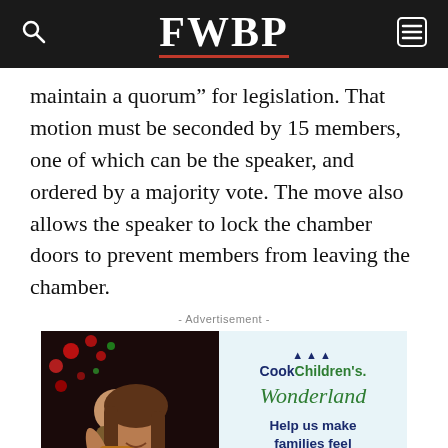FWBP
maintain a quorum” for legislation. That motion must be seconded by 15 members, one of which can be the speaker, and ordered by a majority vote. The move also allows the speaker to lock the chamber doors to prevent members from leaving the chamber.
- Advertisement -
[Figure (photo): Advertisement for Cook Children's Wonderland featuring a mother holding a baby with holiday decorations in the background. The right side shows the Cook Children's logo, Wonderland text in green italic, and the tagline 'Help us make families feel at home for the holidays']